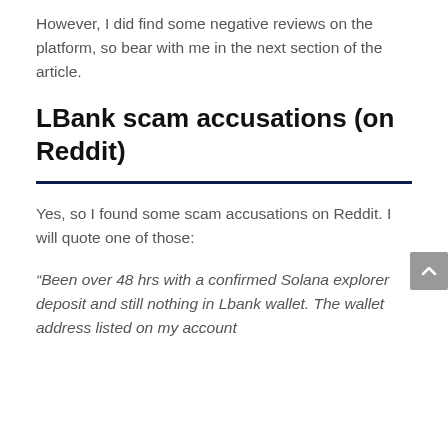However, I did find some negative reviews on the platform, so bear with me in the next section of the article.
LBank scam accusations (on Reddit)
Yes, so I found some scam accusations on Reddit. I will quote one of those:
“Been over 48 hrs with a confirmed Solana explorer deposit and still nothing in Lbank wallet. The wallet address listed on my account